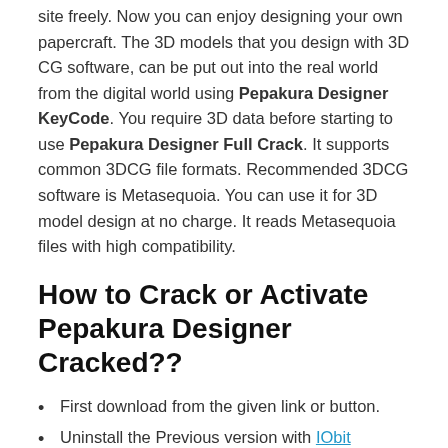site freely. Now you can enjoy designing your own papercraft. The 3D models that you design with 3D CG software, can be put out into the real world from the digital world using Pepakura Designer KeyCode. You require 3D data before starting to use Pepakura Designer Full Crack. It supports common 3DCG file formats. Recommended 3DCG software is Metasequoia. You can use it for 3D model design at no charge. It reads Metasequoia files with high compatibility.
How to Crack or Activate Pepakura Designer Cracked??
First download from the given link or button.
Uninstall the Previous version with IObit Uninstaller Pro
Turn off the Virus Guard.
Then extract the rar file and open the folder.